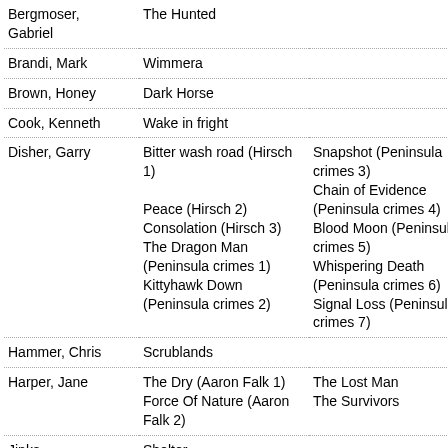| Author | Title 1 | Title 2 |
| --- | --- | --- |
| Bergmoser, Gabriel | The Hunted |  |
| Brandi, Mark | Wimmera |  |
| Brown, Honey | Dark Horse |  |
| Cook, Kenneth | Wake in fright |  |
| Disher, Garry | Bitter wash road (Hirsch 1)
Peace (Hirsch 2)
Consolation (Hirsch 3)
The Dragon Man (Peninsula crimes 1)
Kittyhawk Down (Peninsula crimes 2) | Snapshot (Peninsula crimes 3)
Chain of Evidence (Peninsula crimes 4)
Blood Moon (Peninsula crimes 5)
Whispering Death (Peninsula crimes 6)
Signal Loss (Peninsula crimes 7) |
| Hammer, Chris | Scrublands |  |
| Harper, Jane | The Dry (Aaron Falk 1)
Force Of Nature (Aaron Falk 2) | The Lost Man
The Survivors |
| Jinks, | Shelter |  |